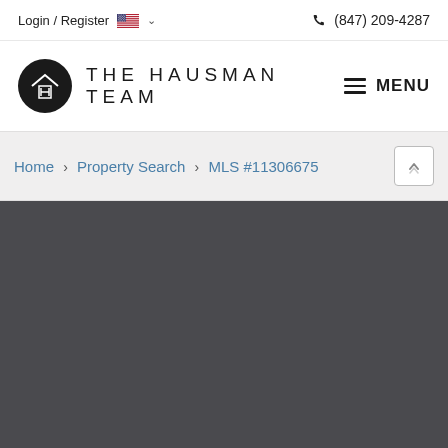Login / Register  (847) 209-4287
[Figure (logo): The Hausman Team logo: black circle with house/H icon, followed by 'THE HAUSMAN TEAM' text in spaced caps]
MENU
Home > Property Search > MLS #11306675
[Figure (photo): Dark gray/charcoal colored area taking up the bottom half of the page, representing a loading or placeholder area for property images]